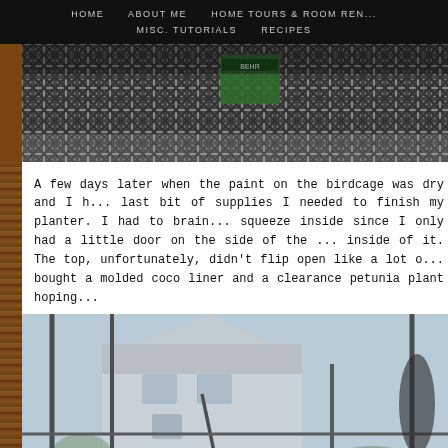HOME    ABOUT ME    HOME TOURS & ROOM REN...    MISC. TUTORIALS    RECIPES
[Figure (photo): Close-up photo of diamond/lattice metal mesh of a birdcage with a green product box visible in the background]
A few days later when the paint on the birdcage was dry and I h... last bit of supplies I needed to finish my planter. I had to brain... squeeze inside since I only had a little door on the side of the ... inside of it. The top, unfortunately, didn't flip open like a lot o... bought a molded coco liner and a clearance petunia plant hoping...
[Figure (photo): Outdoor photo showing a metal birdcage planter with bars/grid visible in the foreground and a house/building in the background, blurred]